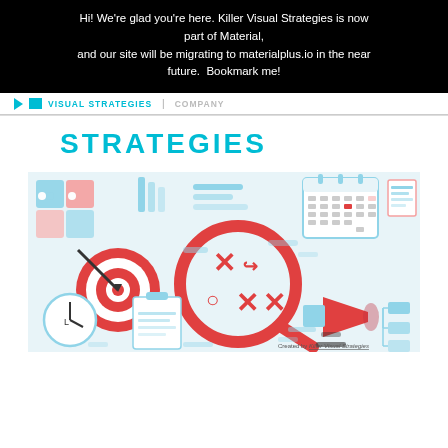Hi! We're glad you're here. Killer Visual Strategies is now part of Material, and our site will be migrating to materialplus.io in the near future.  Bookmark me!
VISUAL STRATEGIES | COMPANY
STRATEGIES
[Figure (illustration): Colorful flat-style marketing/strategy illustration featuring puzzle pieces, a target with arrow, a magnifying glass with X marks, a calendar, a megaphone/bullhorn, clipboard with text, clock, and other strategy icons in red, blue, and light blue tones. Watermark reads 'Created by Killer Visual Strategies'.]